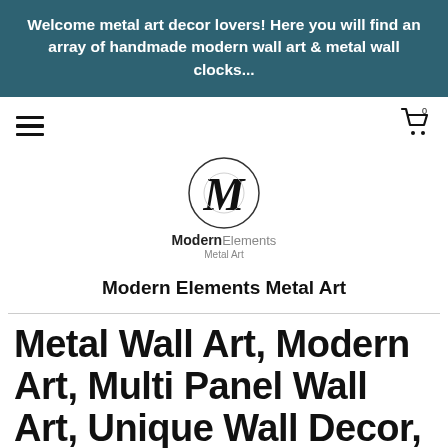Welcome metal art decor lovers! Here you will find an array of handmade modern wall art & metal wall clocks...
[Figure (logo): Modern Elements Metal Art logo with stylized M inside a circle]
Modern Elements Metal Art
Metal Wall Art, Modern Art, Multi Panel Wall Art, Unique Wall Decor, Abstract Sculpture, Contemporary Art,